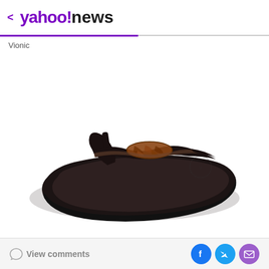< yahoo!news
Vionic
[Figure (photo): A Vionic flip-flop sandal with a dark/black sole and a bronze/tortoiseshell decorative strap, photographed on a white background.]
View comments
View comments [Facebook] [Twitter] [Mail]